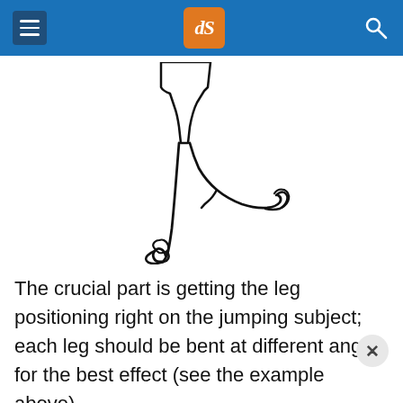dPS
[Figure (illustration): Line drawing of legs of a person jumping, showing two legs bent at different angles — one straight downward and one kicked out to the side at an angle.]
The crucial part is getting the leg positioning right on the jumping subject; each leg should be bent at different angles for the best effect (see the example above).